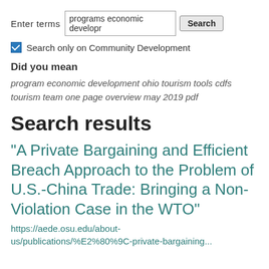Enter terms  programs economic developr  Search
Search only on Community Development
Did you mean
program economic development ohio tourism tools cdfs tourism team one page overview may 2019 pdf
Search results
“A Private Bargaining and Efficient Breach Approach to the Problem of U.S.-China Trade: Bringing a Non-Violation Case in the WTO”
https://aede.osu.edu/about-us/publications/%E2%80%9C-private-bargaining...